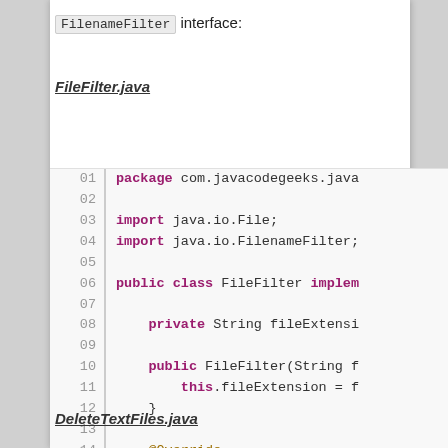FilenameFilter interface:
FileFilter.java
[Figure (screenshot): Java source code for FileFilter.java showing lines 01-18 with syntax highlighting. Keywords like public, private, import, class, boolean, return, this are highlighted in dark pink/purple. The code shows a class FileFilter implementing FilenameFilter interface with a constructor and accept method override.]
DeleteTextFiles.java